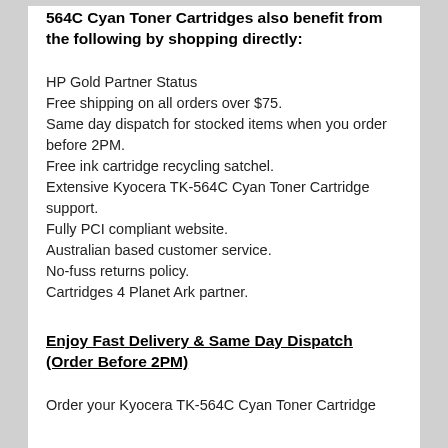564C Cyan Toner Cartridges also benefit from the following by shopping directly:
HP Gold Partner Status
Free shipping on all orders over $75.
Same day dispatch for stocked items when you order before 2PM.
Free ink cartridge recycling satchel.
Extensive Kyocera TK-564C Cyan Toner Cartridge support.
Fully PCI compliant website.
Australian based customer service.
No-fuss returns policy.
Cartridges 4 Planet Ark partner.
Enjoy Fast Delivery & Same Day Dispatch (Order Before 2PM)
Order your Kyocera TK-564C Cyan Toner Cartridge